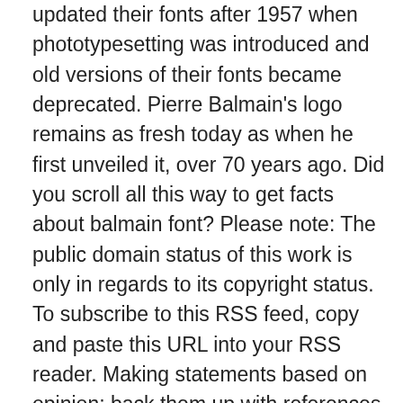updated their fonts after 1957 when phototypesetting was introduced and old versions of their fonts became deprecated. Pierre Balmain's logo remains as fresh today as when he first unveiled it, over 70 years ago. Did you scroll all this way to get facts about balmain font? Please note: The public domain status of this work is only in regards to its copyright status. To subscribe to this RSS feed, copy and paste this URL into your RSS reader. Making statements based on opinion; back them up with references or personal experience. How to synthesize 3-cyclopentylpropanal from (chloromethyl)cyclopentane? - FontZone.net offering 1000's of FREE fonts to download to help the millions of designers across the globe expressing their creativity with much more diversity Find out more in our Cookies & Similar Technologies Policy. About fonts: Designers: Gudrun Zapf von Hesse. Considering aforementioned fact, we can assume that the font in logo was inspired by older (and probably depricated) version of Smaragd font, this is why we cannot find the exact match